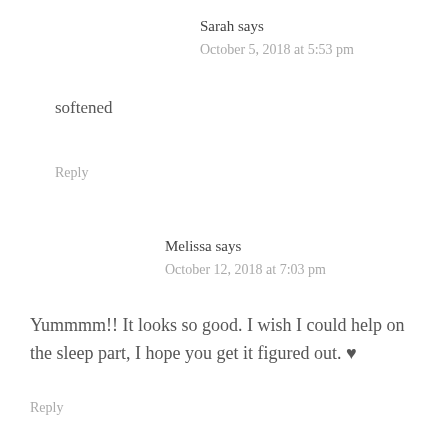Sarah says
October 5, 2018 at 5:53 pm
softened
Reply
Melissa says
October 12, 2018 at 7:03 pm
Yummmm!! It looks so good. I wish I could help on the sleep part, I hope you get it figured out. ♥
Reply